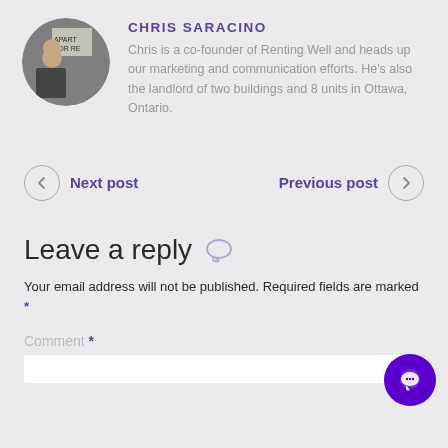CHRIS SARACINO
Chris is a co-founder of Renting Well and heads up our marketing and communication efforts. He's also the landlord of two buildings and 8 units in Ottawa, Ontario.
Next post
Previous post
Leave a reply
Your email address will not be published. Required fields are marked *
Comment *